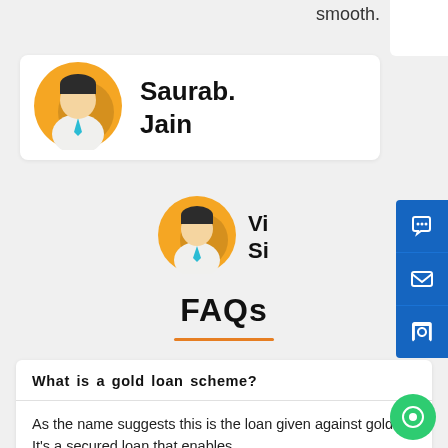smooth.
[Figure (illustration): Person avatar icon (Saurab Jain) - flat design male figure with teal tie on golden yellow circle background]
Saurab.
Jain
[Figure (illustration): Person avatar icon (Vi... Si...) - flat design male figure with teal tie on golden yellow circle background]
Vi...
Si...
FAQs
What is a gold loan scheme?
As the name suggests this is the loan given against gold. It's a secured loan that enables